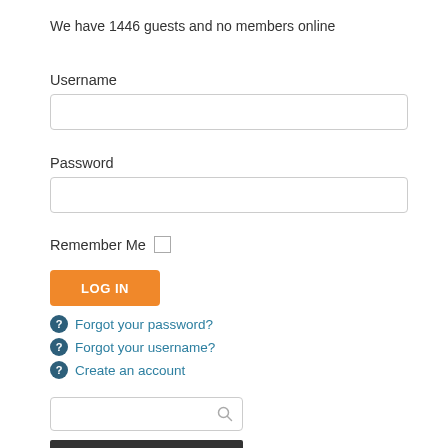We have 1446 guests and no members online
Username
Password
Remember Me
LOG IN
Forgot your password?
Forgot your username?
Create an account